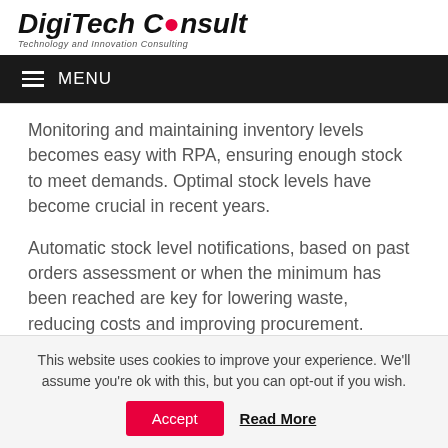DigiTech Consult — Technology and Innovation Consulting
MENU
Monitoring and maintaining inventory levels becomes easy with RPA, ensuring enough stock to meet demands. Optimal stock levels have become crucial in recent years.
Automatic stock level notifications, based on past orders assessment or when the minimum has been reached are key for lowering waste, reducing costs and improving procurement.
This website uses cookies to improve your experience. We'll assume you're ok with this, but you can opt-out if you wish. Accept  Read More